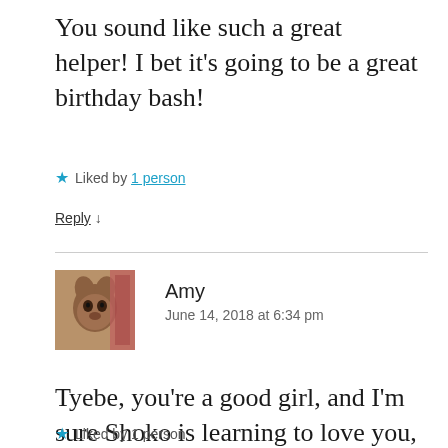You sound like such a great helper! I bet it’s going to be a great birthday bash!
★ Liked by 1 person
Reply ↓
Amy
June 14, 2018 at 6:34 pm
[Figure (photo): Small avatar photo of a dog or small animal being held]
Tyebe, you’re a good girl, and I’m sure Shoko is learning to love you, too. We’ll be by to wish your big sis a happy gotcha’ day tomorrow. ❤
★ Liked by 1 person